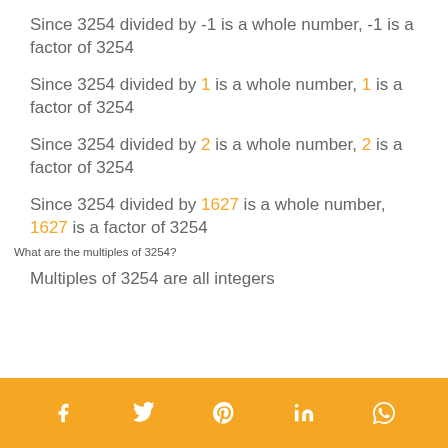Since 3254 divided by -1 is a whole number, -1 is a factor of 3254
Since 3254 divided by 1 is a whole number, 1 is a factor of 3254
Since 3254 divided by 2 is a whole number, 2 is a factor of 3254
Since 3254 divided by 1627 is a whole number, 1627 is a factor of 3254
What are the multiples of 3254?
Multiples of 3254 are all integers
f  t  p  in  whatsapp